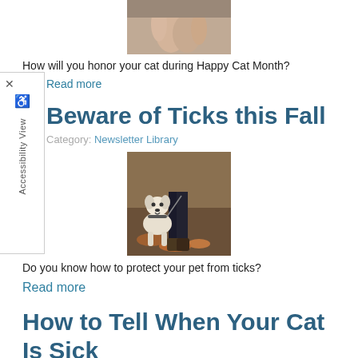[Figure (photo): Close-up photo of human hands/fingers touching]
How will you honor your cat during Happy Cat Month?
Read more
Beware of Ticks this Fall
Category: Newsletter Library
[Figure (photo): A white dog sitting next to a person's legs on a forest path with autumn leaves]
Do you know how to protect your pet from ticks?
Read more
How to Tell When Your Cat Is Sick